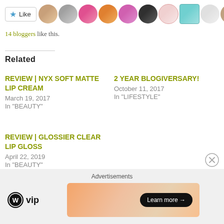[Figure (other): Like button with star icon followed by a row of 11 circular blogger avatar thumbnails]
14 bloggers like this.
Related
REVIEW | NYX SOFT MATTE LIP CREAM
March 19, 2017
In "BEAUTY"
2 YEAR BLOGIVERSARY!
October 11, 2017
In "LIFESTYLE"
REVIEW | GLOSSIER CLEAR LIP GLOSS
April 22, 2019
In "BEAUTY"
[Figure (other): Advertisement bar with WordPress VIP logo on left and a gradient banner ad with Learn more button on right]